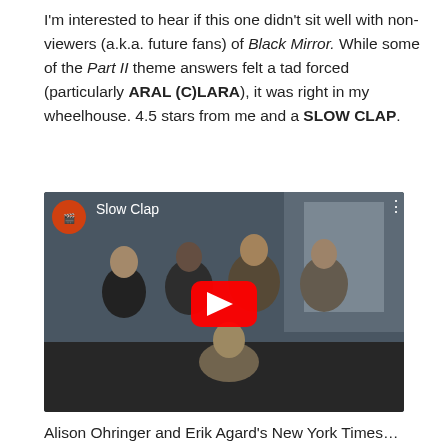I'm interested to hear if this one didn't sit well with non-viewers (a.k.a. future fans) of Black Mirror. While some of the Part II theme answers felt a tad forced (particularly ARAL (C)LARA), it was right in my wheelhouse. 4.5 stars from me and a SLOW CLAP.
[Figure (screenshot): YouTube video embed thumbnail showing five men in business/casual attire clapping in an office setting, with a YouTube play button overlay and title 'Slow Clap']
Alison Ohringer and Erik Agard's New York Times...